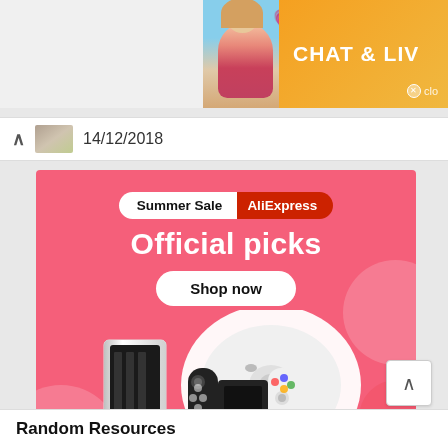[Figure (screenshot): Top portion of webpage showing a chat/live ad banner with an orange background reading 'CHAT & LIV' and a beach photo of a woman with pink heart emojis]
14/12/2018
[Figure (infographic): AliExpress Summer Sale advertisement banner on pink background. Shows 'Summer Sale AliExpress' badge, 'Official picks' headline, 'Shop now' button, and product images including a robot vacuum, gaming console, and Nintendo Switch]
Random Resources